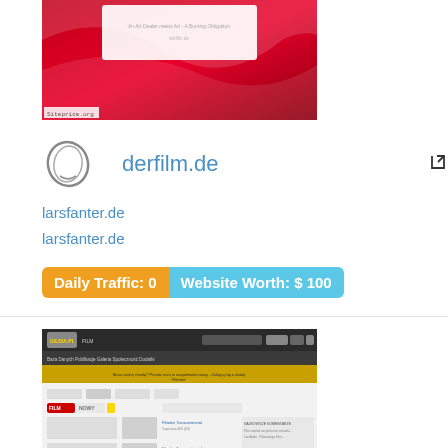[Figure (screenshot): Screenshot of derfilm.de website with red and white design, showing Siteprice.org watermark]
derfilm.de
larsfanter.de
larsfanter.de
Daily Traffic: 0   Website Worth: $ 100
[Figure (screenshot): Screenshot of gildia.pl film website with dark header and content listings]